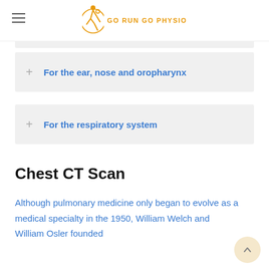GO RUN GO PHYSIO
+ For the ear, nose and oropharynx
+ For the respiratory system
Chest CT Scan
Although pulmonary medicine only began to evolve as a medical specialty in the 1950, William Welch and William Osler founded